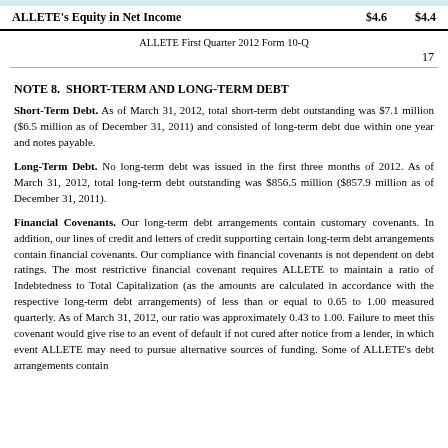| ALLETE's Equity in Net Income |  | $4.6 | $4.4 |
| --- | --- | --- | --- |
ALLETE First Quarter 2012 Form 10-Q
17
NOTE 8.  SHORT-TERM AND LONG-TERM DEBT
Short-Term Debt. As of March 31, 2012, total short-term debt outstanding was $7.1 million ($6.5 million as of December 31, 2011) and consisted of long-term debt due within one year and notes payable.
Long-Term Debt. No long-term debt was issued in the first three months of 2012. As of March 31, 2012, total long-term debt outstanding was $856.5 million ($857.9 million as of December 31, 2011).
Financial Covenants. Our long-term debt arrangements contain customary covenants. In addition, our lines of credit and letters of credit supporting certain long-term debt arrangements contain financial covenants. Our compliance with financial covenants is not dependent on debt ratings. The most restrictive financial covenant requires ALLETE to maintain a ratio of Indebtedness to Total Capitalization (as the amounts are calculated in accordance with the respective long-term debt arrangements) of less than or equal to 0.65 to 1.00 measured quarterly. As of March 31, 2012, our ratio was approximately 0.43 to 1.00. Failure to meet this covenant would give rise to an event of default if not cured after notice from a lender, in which event ALLETE may need to pursue alternative sources of funding. Some of ALLETE's debt arrangements contain